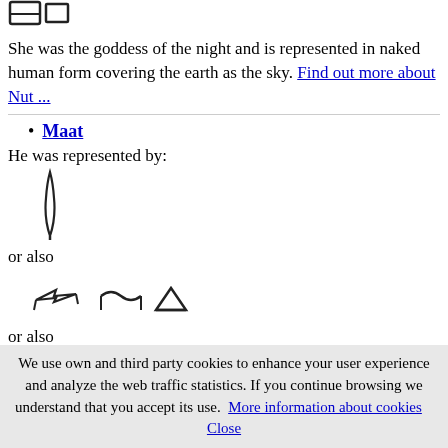[Figure (illustration): Egyptian hieroglyph/symbol at top of page (partially visible)]
She was the goddess of the night and is represented in naked human form covering the earth as the sky. Find out more about Nut ...
Maat
He was represented by:
[Figure (illustration): Egyptian hieroglyph - tall feather-like symbol]
or also
[Figure (illustration): Egyptian hieroglyphs - three symbols in a row]
or also
[Figure (illustration): Egyptian hieroglyphs - two symbols]
We use own and third party cookies to enhance your user experience and analyze the web traffic statistics. If you continue browsing we understand that you accept its use. More information about cookies   Close